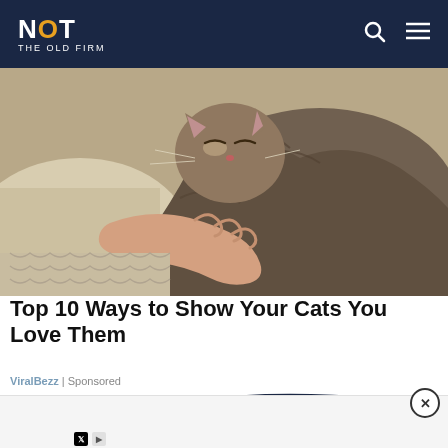NOT THE OLD FIRM
[Figure (photo): A tabby cat with eyes closed being petted by a human hand, resting on a textured blanket]
Top 10 Ways to Show Your Cats You Love Them
ViralBezz | Sponsored
[Figure (infographic): Advertisement banner: Screening Supplies Store® - Screen Printing - Shop Now button, with close (X) button overlay and wavy separator line]